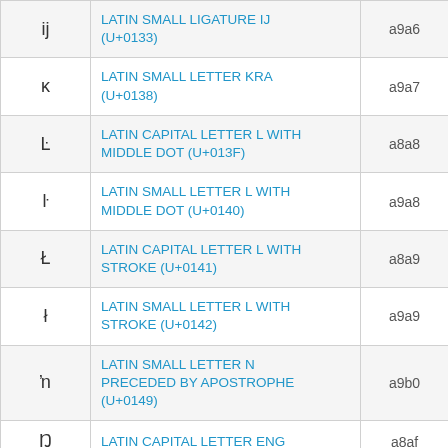| Character | Name | Code |
| --- | --- | --- |
| ij | LATIN SMALL LIGATURE IJ (U+0133) | a9a6 |
| ĸ | LATIN SMALL LETTER KRA (U+0138) | a9a7 |
| Ŀ | LATIN CAPITAL LETTER L WITH MIDDLE DOT (U+013F) | a8a8 |
| ŀ | LATIN SMALL LETTER L WITH MIDDLE DOT (U+0140) | a9a8 |
| Ł | LATIN CAPITAL LETTER L WITH STROKE (U+0141) | a8a9 |
| ł | LATIN SMALL LETTER L WITH STROKE (U+0142) | a9a9 |
| ŉ | LATIN SMALL LETTER N PRECEDED BY APOSTROPHE (U+0149) | a9b0 |
| Ŋ | LATIN CAPITAL LETTER ENG | a8af |